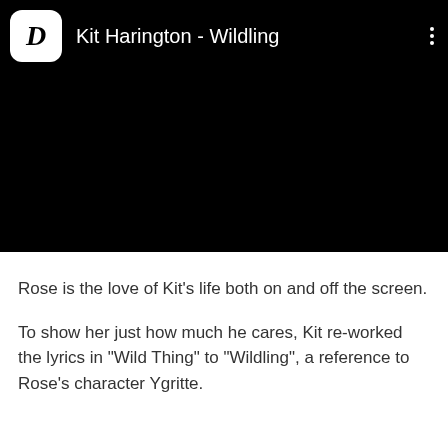[Figure (screenshot): Black video player with app icon (D in white rounded square), title 'Kit Harington - Wildling', and three-dot menu icon]
Rose is the love of Kit's life both on and off the screen.
To show her just how much he cares, Kit re-worked the lyrics in "Wild Thing" to "Wildling", a reference to Rose's character Ygritte.